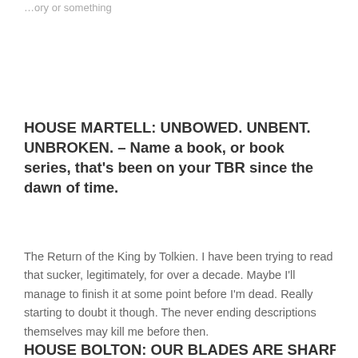…ory or something
HOUSE MARTELL: UNBOWED. UNBENT. UNBROKEN. – Name a book, or book series, that's been on your TBR since the dawn of time.
The Return of the King by Tolkien. I have been trying to read that sucker, legitimately, for over a decade. Maybe I'll manage to finish it at some point before I'm dead. Really starting to doubt it though. The never ending descriptions themselves may kill me before then.
HOUSE BOLTON: OUR BLADES ARE SHARP